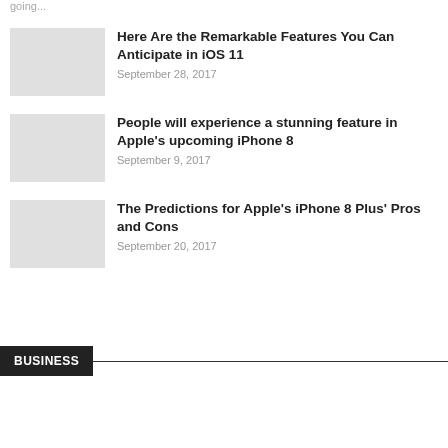going...
Here Are the Remarkable Features You Can Anticipate in iOS 11
September 28, 2017
People will experience a stunning feature in Apple's upcoming iPhone 8
September 9, 2017
The Predictions for Apple's iPhone 8 Plus' Pros and Cons
September 20, 2017
BUSINESS